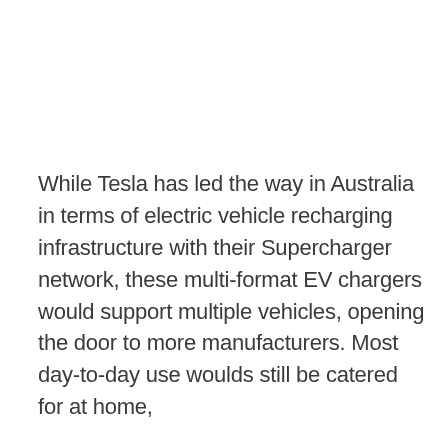While Tesla has led the way in Australia in terms of electric vehicle recharging infrastructure with their Supercharger network, these multi-format EV chargers would support multiple vehicles, opening the door to more manufacturers. Most day-to-day use woulds still be catered for at home,